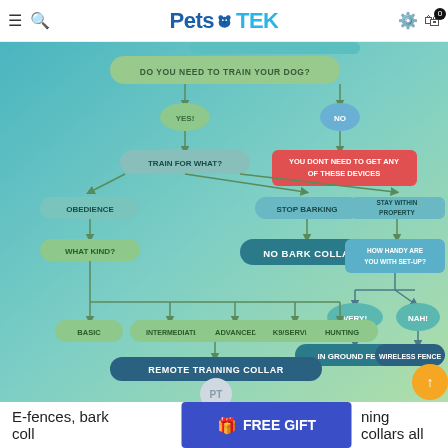PetsTEK - menu, search, settings, cart (0)
[Figure (flowchart): Dog training decision flowchart. Starts with 'DO YOU NEED TO TRAIN YOUR DOG?' → YES leads to 'TRAIN FOR WHAT?' which branches to OBEDIENCE (→ WHAT KIND? → BASIC, INTERMEDIATE, ADVANCED, K9/SERVICE, HUNTING → REMOTE TRAINING COLLAR), STOP BARKING (→ NO BARK COLLAR), STAY WITHIN PROPERTY (→ HOW HANDY ARE YOU WITH SET-UP? → VERY! → IN GROUND FENCE; NAH! → WIRELESS FENCE). NO leads to 'YOU DONT NEED TO GET ANY OF THESE DEVICES'. Bottom has PT logo circle.]
E-fences, bark coll... ning collars all